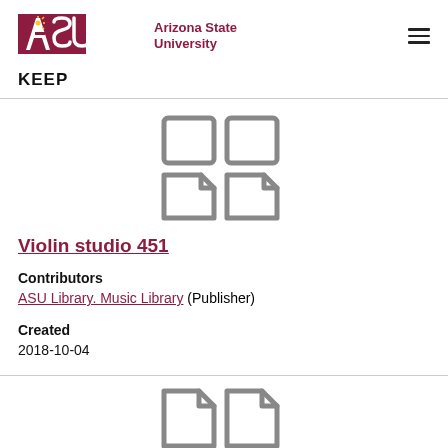[Figure (logo): ASU Arizona State University logo with sun icon and maroon text]
KEEP
[Figure (illustration): Four document/page icons arranged in a 2x2 grid (top two are squares, bottom two are page icons with folded corners)]
Violin studio 451
Contributors
ASU Library. Music Library (Publisher)
Created
2018-10-04
[Figure (illustration): Two document/page icons with folded corners at the bottom of the page]